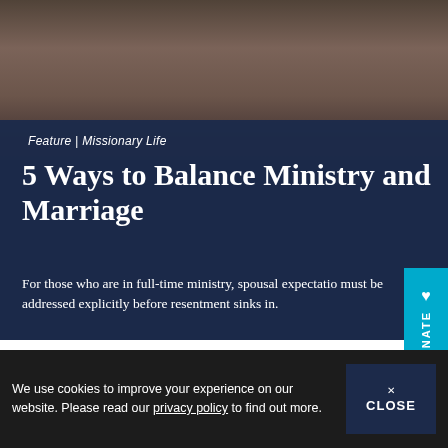[Figure (photo): Close-up of two pairs of hands clasped together in prayer against a dark background]
Feature | Missionary Life
5 Ways to Balance Ministry and Marriage
For those who are in full-time ministry, spousal expectations must be addressed explicitly before resentment sinks in.
[Figure (photo): Close-up of two people holding hands, one wearing white fabric, the other wearing colorful traditional textile]
We use cookies to improve your experience on our website. Please read our privacy policy to find out more.